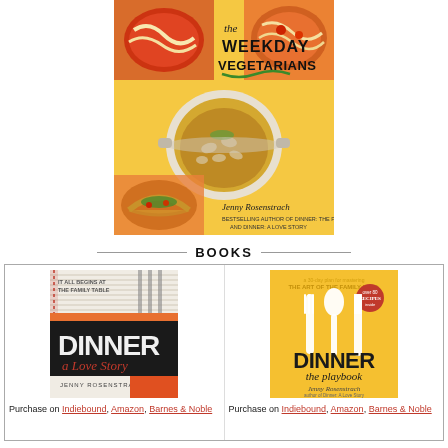[Figure (photo): Book cover: The Weekday Vegetarians by Jenny Rosenstrach. Yellow background with overhead photos of vegetarian dishes including pasta, soup with white beans, and tacos. Text reads 'the Weekday Vegetarians' and 'Bestselling Author of Dinner: The Playbook and Dinner: A Love Story'.]
BOOKS
[Figure (photo): Book cover: Dinner A Love Story by Jenny Rosenstrach. Black and white cover with forks. Text: 'It All Begins at the Family Table', 'Dinner A Love Story', 'Jenny Rosenstrach'.]
Purchase on Indiebound, Amazon, Barnes & Noble
[Figure (photo): Book cover: Dinner the Playbook by Jenny Rosenstrach. Yellow cover with white fork, spoon, and knife silhouettes. Text: 'Dinner the playbook', 'Jenny Rosenstrach'.]
Purchase on Indiebound, Amazon, Barnes & Noble